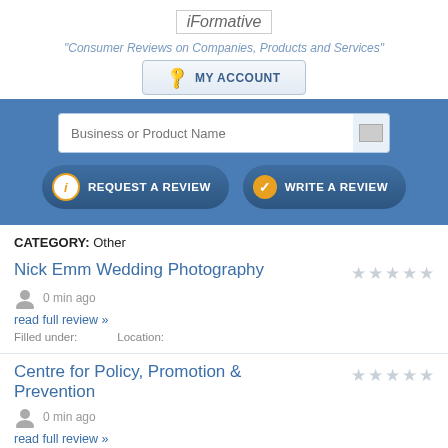[Figure (logo): iFormative logo image]
"Consumer Reviews on Companies, Products and Services"
MY ACCOUNT
Business or Product Name
REQUEST A REVIEW
WRITE A REVIEW
CATEGORY: Other
Nick Emm Wedding Photography
0 min ago
read full review »
Filled under:   Location:
Centre for Policy, Promotion & Prevention
0 min ago
read full review »